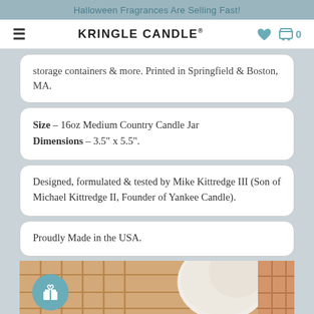Halloween Fragrances Are Selling Fast!
KRINGLE CANDLE® 🤍 🛒 0
storage containers & more. Printed in Springfield & Boston, MA.
Size – 16oz Medium Country Candle Jar
Dimensions – 3.5" x 5.5".
Designed, formulated & tested by Mike Kittredge III (Son of Michael Kittredge II, Founder of Yankee Candle).
Proudly Made in the USA.
[Figure (photo): Photo of a waffle cone with ice cream, warm tones, partial view at bottom of page]